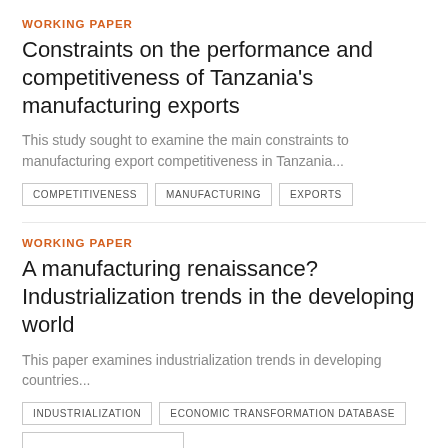WORKING PAPER
Constraints on the performance and competitiveness of Tanzania's manufacturing exports
This study sought to examine the main constraints to manufacturing export competitiveness in Tanzania...
COMPETITIVENESS
MANUFACTURING
EXPORTS
WORKING PAPER
A manufacturing renaissance? Industrialization trends in the developing world
This paper examines industrialization trends in developing countries...
INDUSTRIALIZATION
ECONOMIC TRANSFORMATION DATABASE